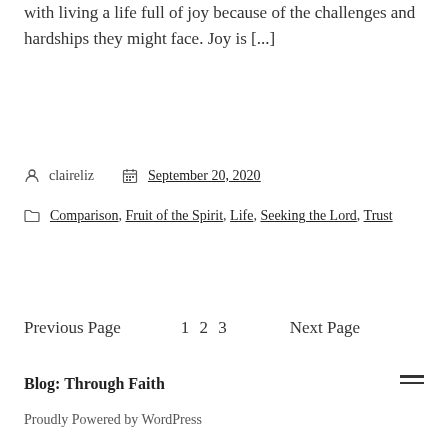with living a life full of joy because of the challenges and hardships they might face. Joy is [...]
claireliz   September 20, 2020
Comparison, Fruit of the Spirit, Life, Seeking the Lord, Trust
Previous Page   1 2 3   Next Page
Blog: Through Faith
Proudly Powered by WordPress